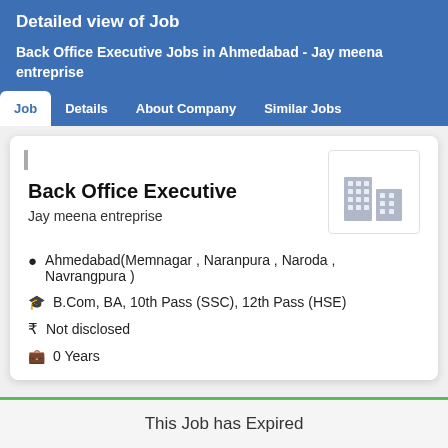Detailed view of Job
Back Office Executive Jobs in Ahmedabad - Jay meena entreprise
Job | Details | About Company | Similar Jobs
Back Office Executive
Jay meena entreprise
Ahmedabad(Memnagar , Naranpura , Naroda , Navrangpura )
B.Com, BA, 10th Pass (SSC), 12th Pass (HSE)
Not disclosed
0 Years
This Job has Expired